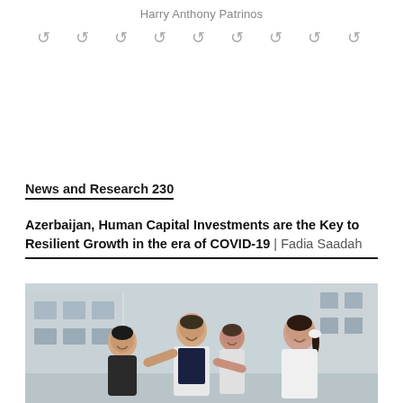Harry Anthony Patrinos
[Figure (illustration): Row of nine circular CC/link icons as a decorative divider]
News and Research 230
Azerbaijan, Human Capital Investments are the Key to Resilient Growth in the era of COVID-19 | Fadia Saadah
[Figure (photo): Photo of several children laughing and embracing outdoors, wearing school uniforms (white shirts, dark vests), with a light-colored building in the background]